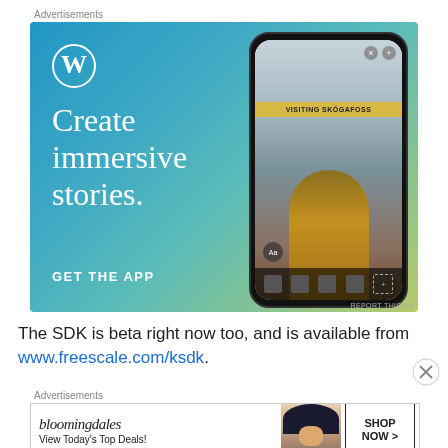Advertisements
[Figure (illustration): WordPress advertisement showing 'Create immersive stories.' with WordPress logo and GET THE APP call-to-action, featuring a phone mockup showing 'VISITING SKÓGAFOSS' travel story with waterfall and person in yellow jacket]
REPORT THIS AD
The SDK is beta right now too, and is available from www.freescale.com/ksdk.
Advertisements
[Figure (illustration): Bloomingdales advertisement showing logo, 'View Today's Top Deals!' text, model with wide-brim hat, and 'SHOP NOW >' button]